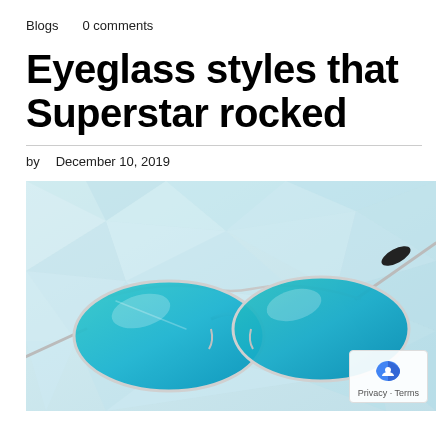Blogs   0 comments
Eyeglass styles that Superstar rocked
by   December 10, 2019
[Figure (photo): A pair of blue mirrored aviator sunglasses with silver metal frames against a light blue geometric polygon background.]